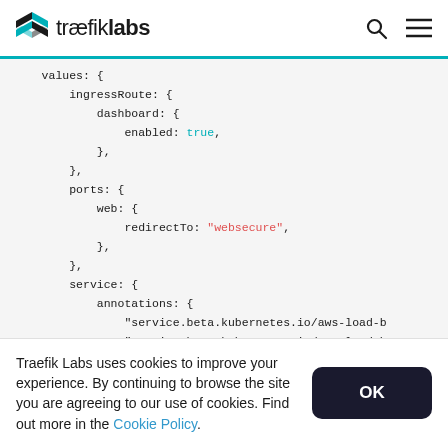traefiklabs
values: {
    ingressRoute: {
        dashboard: {
            enabled: true,
        },
    },
    ports: {
        web: {
            redirectTo: "websecure",
        },
    },
    service: {
        annotations: {
            "service.beta.kubernetes.io/aws-load-b
            "service.beta.kubernetes.io/aws-load-b
Traefik Labs uses cookies to improve your experience. By continuing to browse the site you are agreeing to our use of cookies. Find out more in the Cookie Policy.